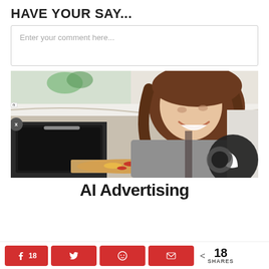HAVE YOUR SAY...
Enter your comment here...
[Figure (photo): Woman smiling and taking a pizza out of an oven in a kitchen setting. A dark circle icon with a moon symbol overlaid in bottom right.]
AI Advertising
18  18 SHARES